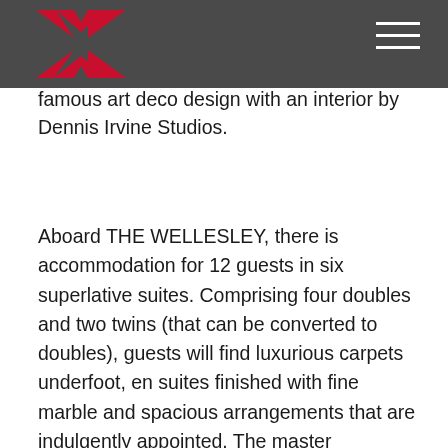THE WELLESLEY logo and navigation menu
a total interior renovation as well as an extension of seven metres in 2016. Today, THE WELLESLEY mirrors the hotel's famous art deco design with an interior by Dennis Irvine Studios.
Aboard THE WELLESLEY, there is accommodation for 12 guests in six superlative suites. Comprising four doubles and two twins (that can be converted to doubles), guests will find luxurious carpets underfoot, en suites finished with fine marble and spacious arrangements that are indulgently appointed. The master stateroom is located on the upper deck and features a walk-in closet as well as floor-to-ceiling windows. Also on the upper deck is one of the convertible suites, which adjoins the master via the closet. A second master suite is found on the main deck and there's arguably a third principal suite on the lower deck, which spans the